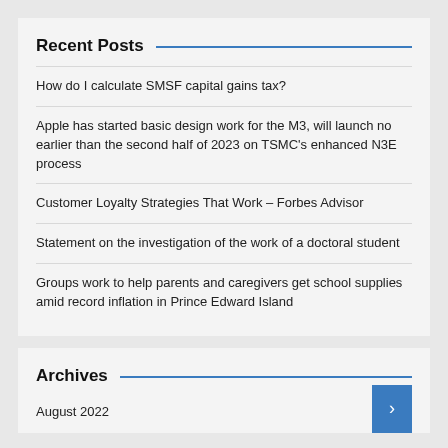Recent Posts
How do I calculate SMSF capital gains tax?
Apple has started basic design work for the M3, will launch no earlier than the second half of 2023 on TSMC's enhanced N3E process
Customer Loyalty Strategies That Work – Forbes Advisor
Statement on the investigation of the work of a doctoral student
Groups work to help parents and caregivers get school supplies amid record inflation in Prince Edward Island
Archives
August 2022